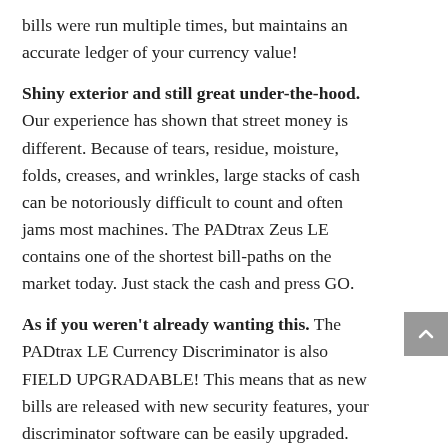bills were run multiple times, but maintains an accurate ledger of your currency value!
Shiny exterior and still great under-the-hood. Our experience has shown that street money is different. Because of tears, residue, moisture, folds, creases, and wrinkles, large stacks of cash can be notoriously difficult to count and often jams most machines. The PADtrax Zeus LE contains one of the shortest bill-paths on the market today. Just stack the cash and press GO.
As if you weren't already wanting this. The PADtrax LE Currency Discriminator is also FIELD UPGRADABLE! This means that as new bills are released with new security features, your discriminator software can be easily upgraded. How's that for our commitment to you?